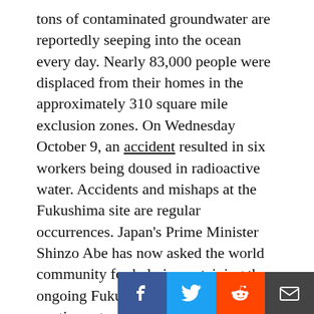tons of contaminated groundwater are reportedly seeping into the ocean every day. Nearly 83,000 people were displaced from their homes in the approximately 310 square mile exclusion zones. On Wednesday October 9, an accident resulted in six workers being doused in radioactive water. Accidents and mishaps at the Fukushima site are regular occurrences. Japan's Prime Minister Shinzo Abe has now asked the world community for help in containing the ongoing Fukushima disaster, as it continues to spiral out of control.
Earlier this week, I participated in a panel discussion in New York City called “The Fukushima Daiichi Nuclear Accident: Ongoing Lessons.” The event featured notable long-time experts on nuclear technology discussing the crisis in Fukushima and the current state of the heavily subsidized nuclear industry in the United States. The panel participants were from the U.S. Nuclear Regulatory Commission (NRC) and several